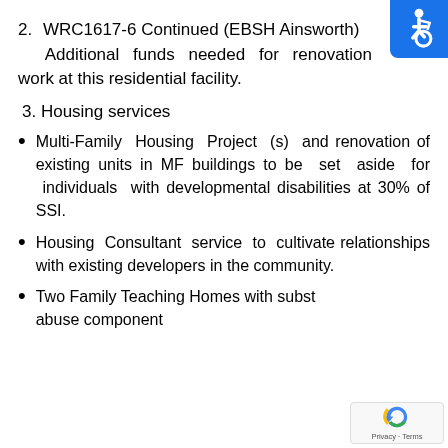2. WRC1617-6 Continued (EBSH Ainsworth) Additional funds needed for renovation work at this residential facility.
3. Housing services
Multi-Family Housing Project (s) and renovation of existing units in MF buildings to be set aside for individuals with developmental disabilities at 30% of SSI.
Housing Consultant service to cultivate relationships with existing developers in the community.
Two Family Teaching Homes with subst abuse component
[Figure (illustration): Wheelchair accessibility icon — white figure in wheelchair on blue background, top-right corner]
[Figure (logo): Google reCAPTCHA badge with recycling-arrow logo and Privacy - Terms text, bottom-right corner]